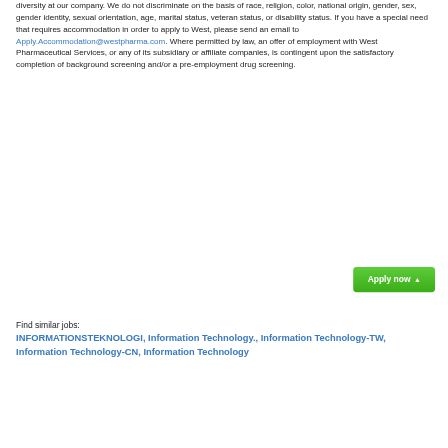diversity at our company. We do not discriminate on the basis of race, religion, color, national origin, gender, sex, gender identity, sexual orientation, age, marital status, veteran status, or disability status. If you have a special need that requires accommodation in order to apply to West, please send an email to Apply.Accommodation@westpharma.com. Where permitted by law, an offer of employment with West Pharmaceutical Services, or any of its subsidiary or affiliate companies, is contingent upon the satisfactory completion of background screening and/or a pre-employment drug screening.
[Figure (other): Green 'Apply now' button with upward arrow]
Find similar jobs:
INFORMATIONSTEKNOLOGI, Information Technology., Information Technology-TW, Information Technology-CN, Information Technology